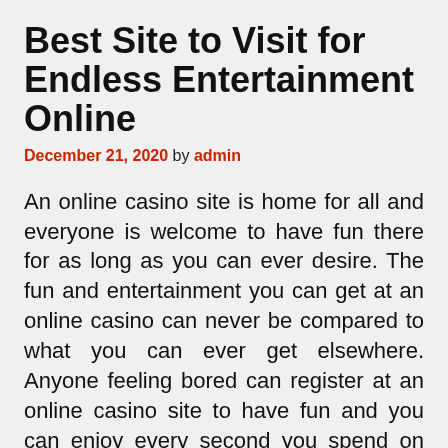Best Site to Visit for Endless Entertainment Online
December 21, 2020 by admin
An online casino site is home for all and everyone is welcome to have fun there for as long as you can ever desire. The fun and entertainment you can get at an online casino can never be compared to what you can ever get elsewhere. Anyone feeling bored can register at an online casino site to have fun and you can enjoy every second you spend on these